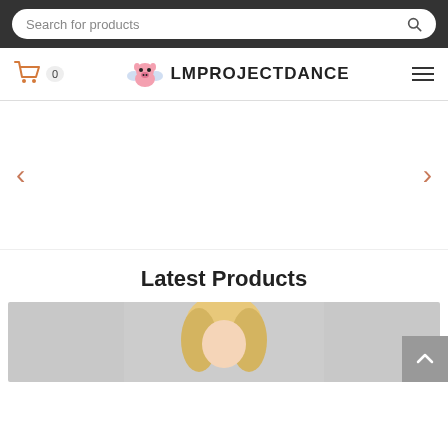Search for products
[Figure (logo): LMProjectDance website header with cart icon, pixel pig logo, site name LMPROJECTDANCE, and hamburger menu]
[Figure (other): Image slider area with left and right navigation arrows (chevrons)]
Latest Products
[Figure (photo): Partial product photo showing a person with blonde hair against a light grey background]